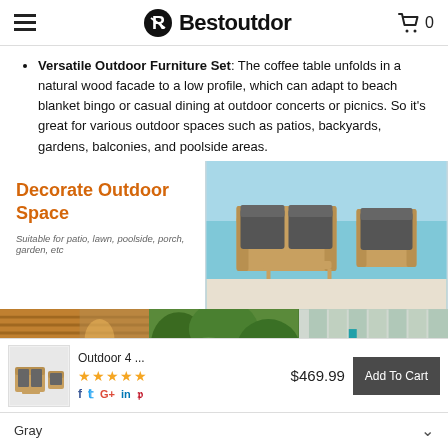Bestoutdor
Versatile Outdoor Furniture Set: The coffee table unfolds in a natural wood facade to a low profile, which can adapt to beach blanket bingo or casual dining at outdoor concerts or picnics. So it's great for various outdoor spaces such as patios, backyards, gardens, balconies, and poolside areas.
[Figure (photo): Outdoor patio furniture set with wood frame and gray cushions near a pool, with text overlay 'Decorate Outdoor Space - Suitable for patio, lawn, poolside, porch, garden, etc']
[Figure (photo): Close-up of wood slats texture]
[Figure (photo): Garden with green plants]
[Figure (photo): Outdoor furniture side view]
Outdoor 4 ...
★★★★★
$469.99
Add To Cart
Gray